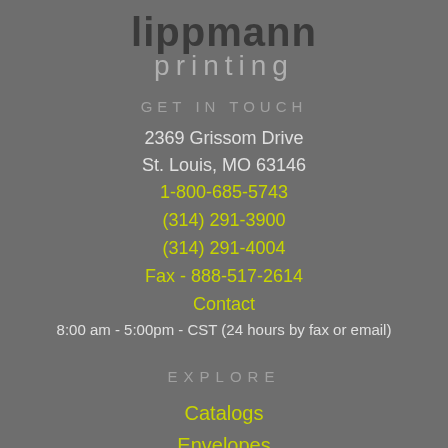lippmann printing
GET IN TOUCH
2369 Grissom Drive
St. Louis, MO 63146
1-800-685-5743
(314) 291-3900
(314) 291-4004
Fax - 888-517-2614
Contact
8:00 am - 5:00pm - CST (24 hours by fax or email)
EXPLORE
Catalogs
Envelopes